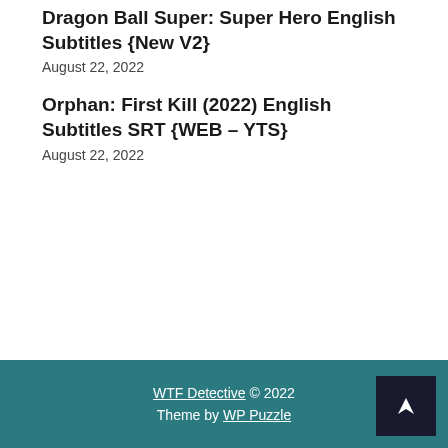Dragon Ball Super: Super Hero English Subtitles {New V2}
August 22, 2022
Orphan: First Kill (2022) English Subtitles SRT {WEB – YTS}
August 22, 2022
WTF Detective © 2022 Theme by WP Puzzle